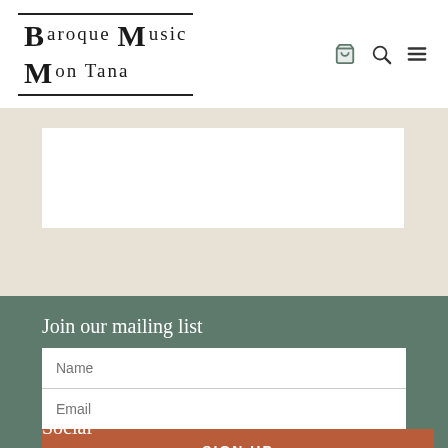[Figure (logo): Baroque Music Montana logo with stylized letters BM and text in serif font with top and bottom border lines]
Join our mailing list
Name
Email
SIGN UP
Social